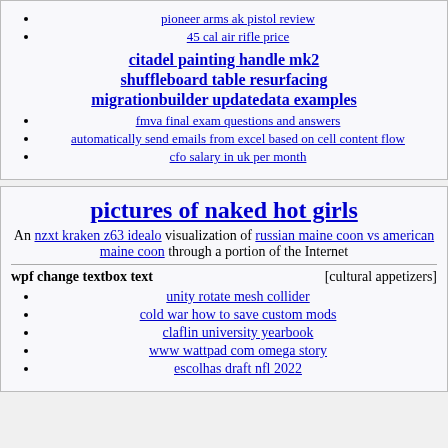pioneer arms ak pistol review
45 cal air rifle price
citadel painting handle mk2
shuffleboard table resurfacing
migrationbuilder updatedata examples
fmva final exam questions and answers
automatically send emails from excel based on cell content flow
cfo salary in uk per month
pictures of naked hot girls
An nzxt kraken z63 idealo visualization of russian maine coon vs american maine coon through a portion of the Internet
wpf change textbox text [cultural appetizers]
unity rotate mesh collider
cold war how to save custom mods
claflin university yearbook
www wattpad com omega story
escolhas draft nfl 2022